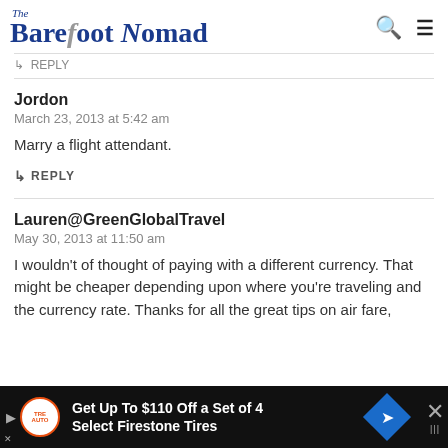The Barefoot Nomad
↳ REPLY
Jordon
March 23, 2013 at 5:42 am
Marry a flight attendant.
↳ REPLY
Lauren@GreenGlobalTravel
May 30, 2013 at 11:50 am
I wouldn't of thought of paying with a different currency. That might be cheaper depending upon where you're traveling and the currency rate. Thanks for all the great tips on air fare,
Get Up To $110 Off a Set of 4 Select Firestone Tires